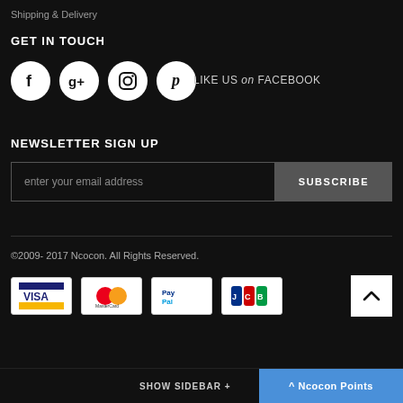Shipping & Delivery
GET IN TOUCH
[Figure (illustration): Four social media icon circles (Facebook, Google+, Instagram, Pinterest) and LIKE US on FACEBOOK text]
NEWSLETTER SIGN UP
enter your email address [input field] SUBSCRIBE [button]
©2009- 2017 Ncocon. All Rights Reserved.
[Figure (illustration): Payment method logos: VISA, MasterCard, PayPal, JCB]
SHOW SIDEBAR + ^ Ncocon Points